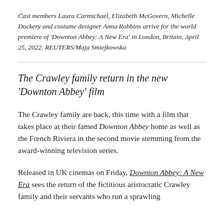Cast members Laura Carmichael, Elizabeth McGovern, Michelle Dockery and costume designer Anna Robbins arrive for the world premiere of 'Downton Abbey: A New Era' in London, Britain, April 25, 2022. REUTERS/Maja Smiejkowska
The Crawley family return in the new 'Downton Abbey' film
The Crawley family are back, this time with a film that takes place at their famed Downton Abbey home as well as the French Riviera in the second movie stemming from the award-winning television series.
Released in UK cinemas on Friday, Downton Abbey: A New Era sees the return of the fictitious aristocratic Crawley family and their servants who run a sprawling